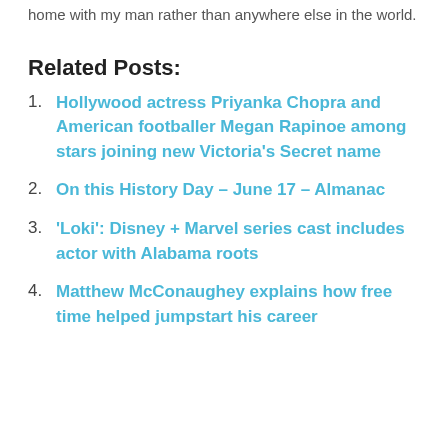home with my man rather than anywhere else in the world.
Related Posts:
Hollywood actress Priyanka Chopra and American footballer Megan Rapinoe among stars joining new Victoria’s Secret name
On this History Day – June 17 – Almanac
‘Loki’: Disney + Marvel series cast includes actor with Alabama roots
Matthew McConaughey explains how free time helped jumpstart his career